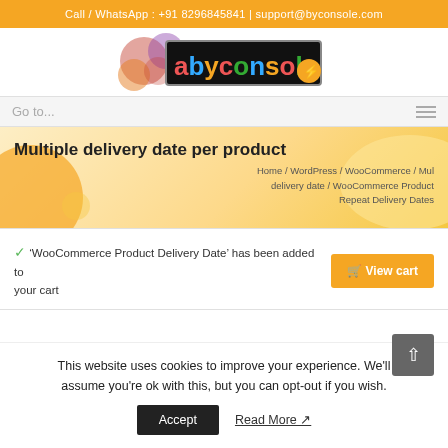Call / WhatsApp : +91 8296845841 | support@byconsole.com
[Figure (logo): Byconsole logo with colorful text on black background with decorative circles]
Multiple delivery date per product
Home / WordPress / WooCommerce / Multiple delivery date / WooCommerce Product Repeat Delivery Dates
'WooCommerce Product Delivery Date' has been added to your cart
This website uses cookies to improve your experience. We'll assume you're ok with this, but you can opt-out if you wish.
Accept  Read More